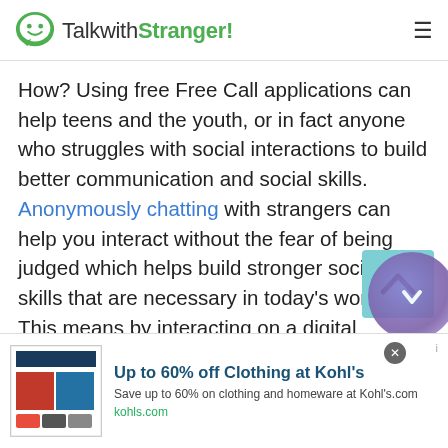TalkwithStranger!
How? Using free Free Call applications can help teens and the youth, or in fact anyone who struggles with social interactions to build better communication and social skills. Anonymously chatting with strangers can help you interact without the fear of being judged which helps build stronger social skills that are necessary in today's world. This means by interacting on a digital platform, you can actually improve your face-to-face interactions in the real world.
Angolan Free Call : A Way to Combat Loneliness
[Figure (screenshot): Advertisement banner for Kohl's: Up to 60% off Clothing at Kohl's. Save up to 60% on clothing and homeware at Kohl's.com. kohls.com]